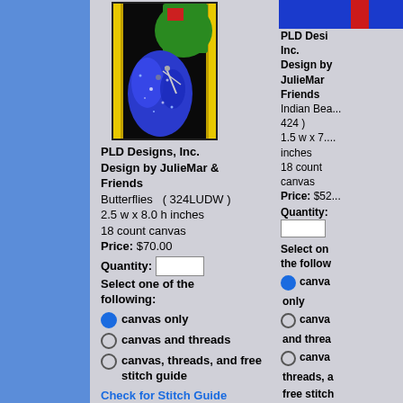[Figure (photo): Needlepoint canvas product image showing butterflies in blue and green on black background with yellow border]
PLD Designs, Inc. Design by JulieMar & Friends Butterflies ( 324LUDW ) 2.5 w x 8.0 h inches 18 count canvas Price: $70.00 Quantity: Select one of the following: canvas only canvas and threads canvas, threads, and free stitch guide Check for Stitch Guide
PLD Designs, Inc. Design by JulieMar & Friends Indian Bea... 424 ) 1.5 w x 7.... inches 18 count canvas Price: $52... Quantity: Select one of the following: canvas only canvas and threads canvas, threads, and free stitch guide Check for Stitch Guide